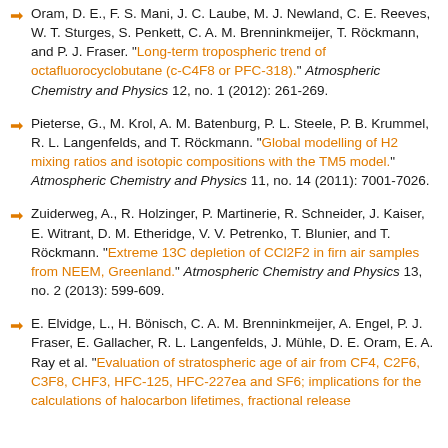Oram, D. E., F. S. Mani, J. C. Laube, M. J. Newland, C. E. Reeves, W. T. Sturges, S. Penkett, C. A. M. Brenninkmeijer, T. Röckmann, and P. J. Fraser. "Long-term tropospheric trend of octafluorocyclobutane (c-C4F8 or PFC-318)." Atmospheric Chemistry and Physics 12, no. 1 (2012): 261-269.
Pieterse, G., M. Krol, A. M. Batenburg, P. L. Steele, P. B. Krummel, R. L. Langenfelds, and T. Röckmann. "Global modelling of H2 mixing ratios and isotopic compositions with the TM5 model." Atmospheric Chemistry and Physics 11, no. 14 (2011): 7001-7026.
Zuiderweg, A., R. Holzinger, P. Martinerie, R. Schneider, J. Kaiser, E. Witrant, D. M. Etheridge, V. V. Petrenko, T. Blunier, and T. Röckmann. "Extreme 13C depletion of CCl2F2 in firn air samples from NEEM, Greenland." Atmospheric Chemistry and Physics 13, no. 2 (2013): 599-609.
E. Elvidge, L., H. Bönisch, C. A. M. Brenninkmeijer, A. Engel, P. J. Fraser, E. Gallacher, R. L. Langenfelds, J. Mühle, D. E. Oram, E. A. Ray et al. "Evaluation of stratospheric age of air from CF4, C2F6, C3F8, CHF3, HFC-125, HFC-227ea and SF6; implications for the calculations of halocarbon lifetimes, fractional release...